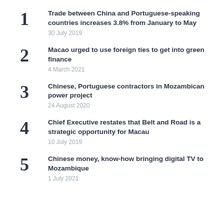Trade between China and Portuguese-speaking countries increases 3.8% from January to May
30 July 2019
Macao urged to use foreign ties to get into green finance
4 March 2021
Chinese, Portuguese contractors in Mozambican power project
24 August 2020
Chief Executive restates that Belt and Road is a strategic opportunity for Macau
10 July 2019
Chinese money, know-how bringing digital TV to Mozambique
1 July 2021